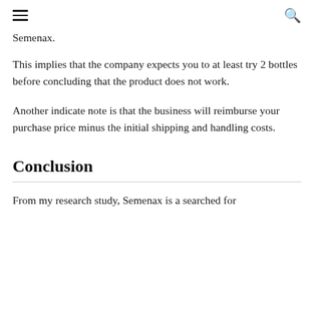Semenax.
This implies that the company expects you to at least try 2 bottles before concluding that the product does not work.
Another indicate note is that the business will reimburse your purchase price minus the initial shipping and handling costs.
Conclusion
From my research study, Semenax is a searched for